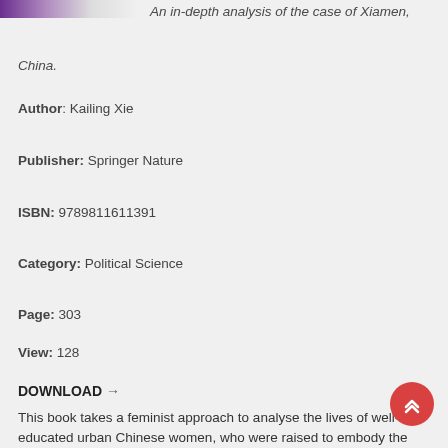[Figure (photo): Partial top edge of a book cover image with purple and light gradient]
An in-depth analysis of the case of Xiamen, China.
Author: Kailing Xie
Publisher: Springer Nature
ISBN: 9789811611391
Category: Political Science
Page: 303
View: 128
DOWNLOAD →
This book takes a feminist approach to analyse the lives of well-educated urban Chinese women, who were raised to embody the ideals of